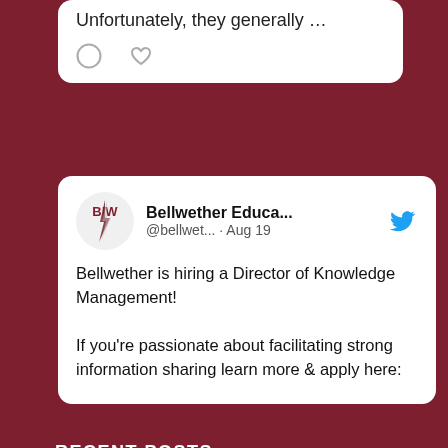[Figure (screenshot): Partial Twitter/social media card showing tweet text 'Unfortunately, they generally …' with comment and heart icons below]
[Figure (screenshot): Twitter card for Bellwether Education (@bellwet...) dated Aug 19 with Bellwether B/W logo and blue Twitter bird icon. Tweet text: 'Bellwether is hiring a Director of Knowledge Management! If you're passionate about facilitating strong information sharing learn more & apply here:']
RECENT POSTS
Celebrating National Intern Day
It's Time to Stop Overlooking Juvenile Justice Education Policy
Lessons for Policymakers from Frustrated Parents
Three Strategies Social Entrepreneurs Can Use to